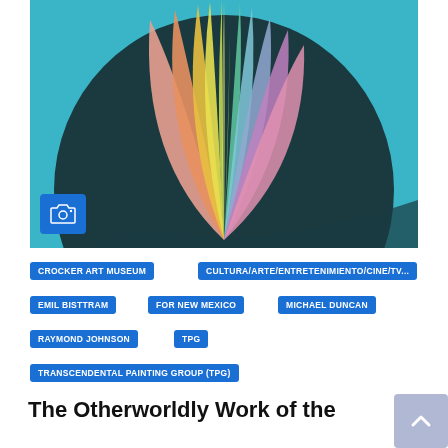[Figure (illustration): Abstract colorful painting showing rainbow-colored petal or leaf-like forms radiating upward from a dark center, set against a teal/turquoise background. A blue camera badge icon is overlaid in the lower left.]
CROCKER ART MUSEUM
CULTURA/ARTE/ENTRETENIMIENTO/CINE/TV...
EMIL BISTTRAM
FOR NEW MEXICO
MICHAEL DUNCAN
RAYMOND JOHNSON
TPG
TRANSCENDENTAL PAINTING GROUP (TPG)
The Otherworldly Work of the